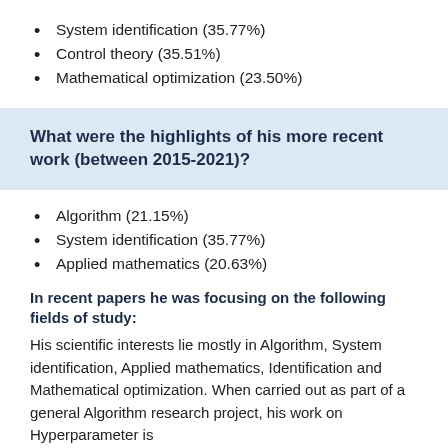System identification (35.77%)
Control theory (35.51%)
Mathematical optimization (23.50%)
What were the highlights of his more recent work (between 2015-2021)?
Algorithm (21.15%)
System identification (35.77%)
Applied mathematics (20.63%)
In recent papers he was focusing on the following fields of study:
His scientific interests lie mostly in Algorithm, System identification, Applied mathematics, Identification and Mathematical optimization. When carried out as part of a general Algorithm research project, his work on Hyperparameter is